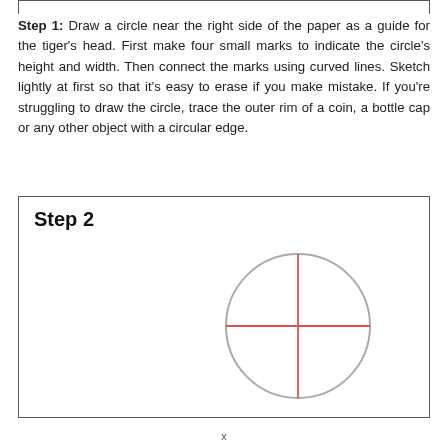Step 1: Draw a circle near the right side of the paper as a guide for the tiger's head. First make four small marks to indicate the circle's height and width. Then connect the marks using curved lines. Sketch lightly at first so that it's easy to erase if you make mistake. If you're struggling to draw the circle, trace the outer rim of a coin, a bottle cap or any other object with a circular edge.
[Figure (illustration): A circle drawn in gray with a red cross (horizontal and vertical lines) through the center, labeled Step 2, illustrating a drawing guide for a tiger's head.]
x